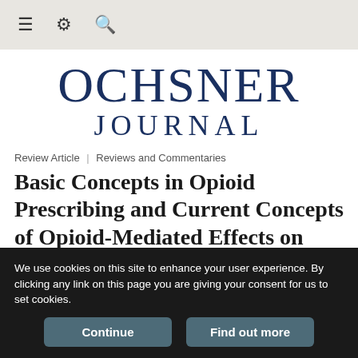≡ ⚙ 🔍
[Figure (logo): Ochsner Journal logo with 'OCHSNER' in large navy serif text and 'JOURNAL' below in spaced navy serif text]
Review Article | Reviews and Commentaries
Basic Concepts in Opioid Prescribing and Current Concepts of Opioid-Mediated Effects on Driving
We use cookies on this site to enhance your user experience. By clicking any link on this page you are giving your consent for us to set cookies.
Continue   Find out more